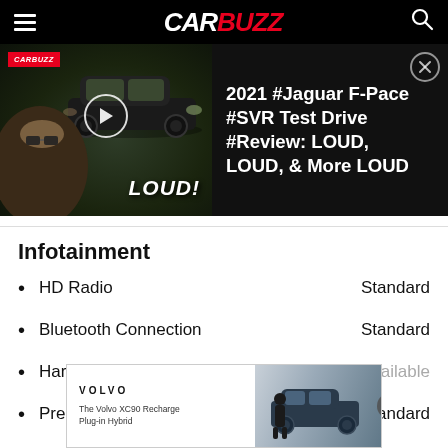CARBUZZ
[Figure (screenshot): CarBuzz video promo showing 2021 Jaguar F-Pace SVR test drive review titled 'LOUD, LOUD, & More LOUD']
Infotainment
HD Radio — Standard
Bluetooth Connection — Standard
Hard Disk Drive Media Storage — Not Available
Premium Sound System — Standard
[Figure (screenshot): Volvo XC90 Recharge Plug-in Hybrid advertisement banner]